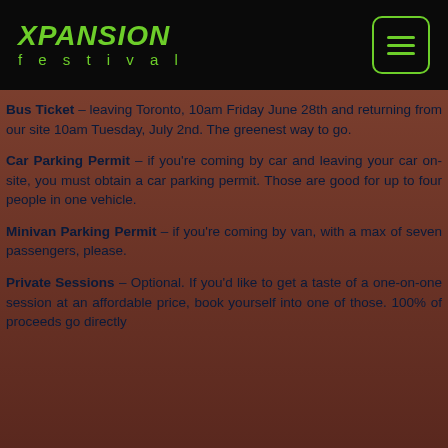XPANSION festival
Bus Ticket – leaving Toronto, 10am Friday June 28th and returning from our site 10am Tuesday, July 2nd. The greenest way to go.
Car Parking Permit – if you're coming by car and leaving your car on-site, you must obtain a car parking permit. Those are good for up to four people in one vehicle.
Minivan Parking Permit – if you're coming by van, with a max of seven passengers, please.
Private Sessions – Optional. If you'd like to get a taste of a one-on-one session at an affordable price, book yourself into one of those. 100% of proceeds go directly